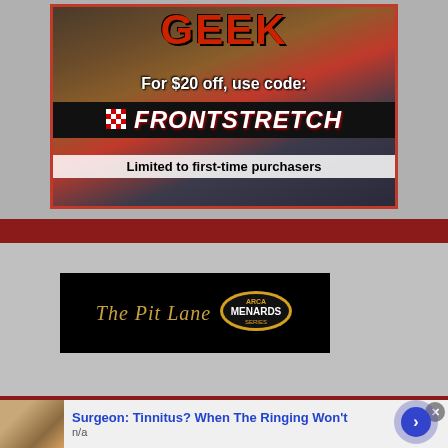[Figure (infographic): SeatGeek advertisement: crowd photo background with text 'GEEK', 'For $20 off, use code: FRONTSTRETCH', checkered flag logo, 'Limited to first-time purchasers']
[Figure (logo): The Pit Lane - ARCA Menards Series advertisement banner on black background]
Surgeon: Tinnitus? When The Ringing Won't
n/a